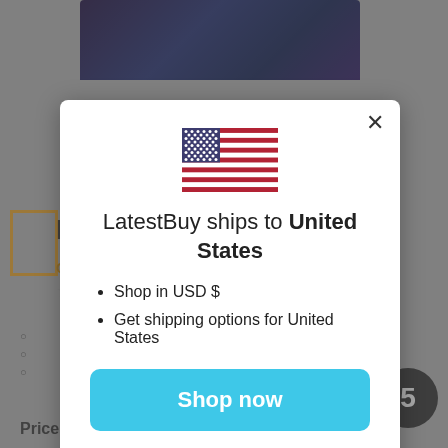[Figure (screenshot): E-commerce website background showing a product page with an orange bordered box, product title starting with 'N', gold text, star rating, bullet points, price label 'Price: $39.95', and a dark circular element in the bottom right.]
[Figure (illustration): US flag SVG illustration centered in the modal dialog]
LatestBuy ships to United States
Shop in USD $
Get shipping options for United States
Shop now
Change shipping country